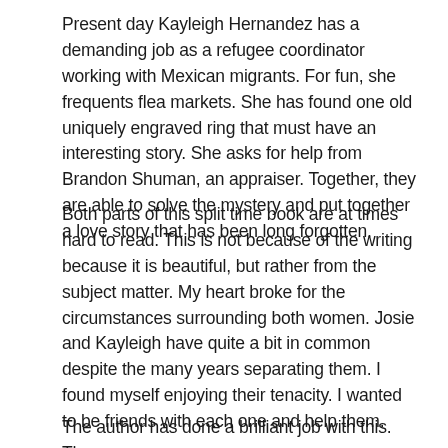Present day Kayleigh Hernandez has a demanding job as a refugee coordinator working with Mexican migrants. For fun, she frequents flea markets. She has found one old uniquely engraved ring that must have an interesting story. She asks for help from Brandon Shuman, an appraiser. Together, they are able to solve the mystery and put together a love story that has been long forgotten.
Both parts of this split time book are at times hard to read. This is not because of the writing because it is beautiful, but rather from the subject matter. My heart broke for the circumstances surrounding both women. Josie and Kayleigh have quite a bit in common despite the many years separating them. I found myself enjoying their tenacity. I wanted to be friends with each one and help them.
The author has done a brilliant job with this. The...